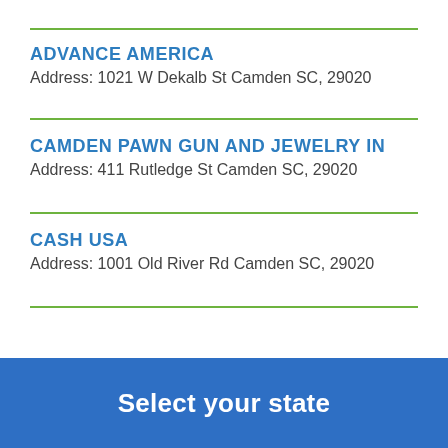ADVANCE AMERICA
Address: 1021 W Dekalb St Camden SC, 29020
CAMDEN PAWN GUN AND JEWELRY IN
Address: 411 Rutledge St Camden SC, 29020
CASH USA
Address: 1001 Old River Rd Camden SC, 29020
Select your state